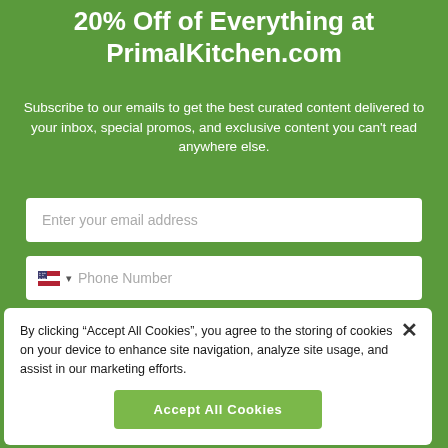20% Off of Everything at PrimalKitchen.com
Subscribe to our emails to get the best curated content delivered to your inbox, special promos, and exclusive content you can't read anywhere else.
Enter your email address
Phone Number
By clicking SIGN UP NOW, you agree to receive marketing text messages from Mark's
By clicking “Accept All Cookies”, you agree to the storing of cookies on your device to enhance site navigation, analyze site usage, and assist in our marketing efforts.
Accept All Cookies